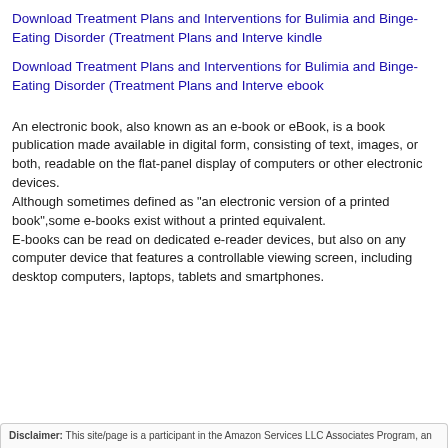Download Treatment Plans and Interventions for Bulimia and Binge-Eating Disorder (Treatment Plans and Interve kindle
Download Treatment Plans and Interventions for Bulimia and Binge-Eating Disorder (Treatment Plans and Interve ebook
An electronic book, also known as an e-book or eBook, is a book publication made available in digital form, consisting of text, images, or both, readable on the flat-panel display of computers or other electronic devices. Although sometimes defined as "an electronic version of a printed book",some e-books exist without a printed equivalent. E-books can be read on dedicated e-reader devices, but also on any computer device that features a controllable viewing screen, including desktop computers, laptops, tablets and smartphones.
Disclaimer: This site/page is a participant in the Amazon Services LLC Associates Program, an